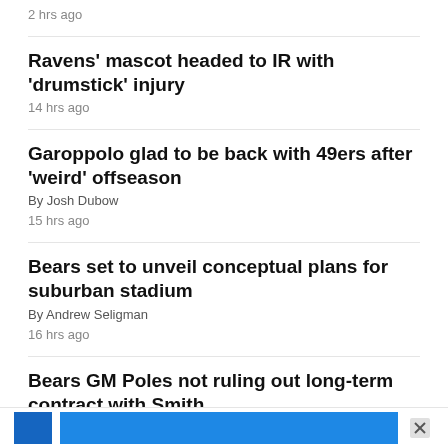2 hrs ago
Ravens' mascot headed to IR with 'drumstick' injury
14 hrs ago
Garoppolo glad to be back with 49ers after 'weird' offseason
By Josh Dubow
15 hrs ago
Bears set to unveil conceptual plans for suburban stadium
By Andrew Seligman
16 hrs ago
Bears GM Poles not ruling out long-term contract with Smith
By Andrew Seligman
16 hrs ago